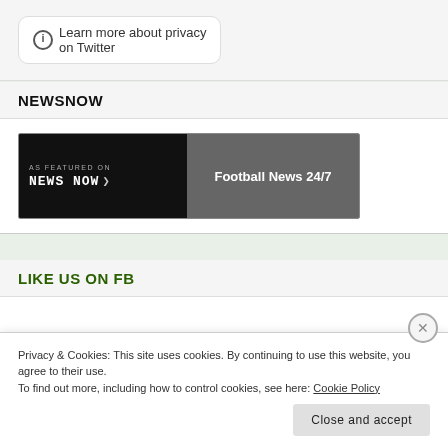Learn more about privacy on Twitter
NEWSNOW
[Figure (other): NewsNow banner: 'AS FEATURED ON NewsNow >' on black background left half, 'Football News 24/7' on grey right half]
LIKE US ON FB
Privacy & Cookies: This site uses cookies. By continuing to use this website, you agree to their use.
To find out more, including how to control cookies, see here: Cookie Policy
Close and accept